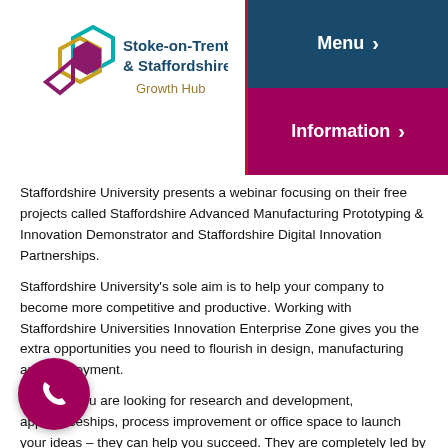[Figure (logo): Stoke-on-Trent & Staffordshire Growth Hub logo with hexagonal icon in teal, gold, and purple]
[Figure (screenshot): Navigation buttons: Menu > and Information > on dark blue and dark pink backgrounds]
Staffordshire University presents a webinar focusing on their free projects called Staffordshire Advanced Manufacturing Prototyping & Innovation Demonstrator and Staffordshire Digital Innovation Partnerships.
Staffordshire University's sole aim is to help your company to become more competitive and productive. Working with Staffordshire Universities Innovation Enterprise Zone gives you the extra opportunities you need to flourish in design, manufacturing and employment.
Whether you are looking for research and development, apprenticeships, process improvement or office space to launch your ideas – they can help you succeed. They are completely led by business needs, ambitions and strategies and are empowered by research excellence and proven business solutions.
[Figure (illustration): Dark pink circular phone call button with white telephone handset icon]